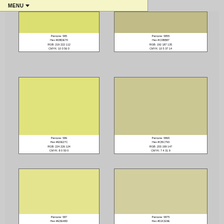[Figure (screenshot): Color palette reference showing Pantone swatches in a 2-column grid. Each swatch shows a colored rectangle with Pantone name, Hex code, RGB values, and CMYK values below.]
MENU ▼
Pantone: 585
Hex #DBDE70
RGB: 219 222 112
CMYK: 10 0 56 0
Pantone: 5855
Hex #C0BB87
RGB: 192 187 135
CMYK: 10 5 37 14
Pantone: 586
Hex #E0E27C
RGB: 224 226 124
CMYK: 8 0 50 0
Pantone: 5865
Hex #CBC793
RGB: 203 199 147
CMYK: 7 4 31 9
Pantone: 587
Hex #E3E48D
RGB: 227 228 141
Pantone: 5875
Hex #D2CE9E
RGB: 210 206 158